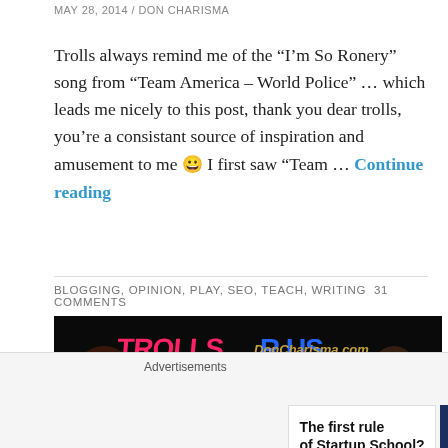MAY 28, 2014 / DON CHARISMA
Trolls always remind me of the “I’m So Ronery” song from “Team America – World Police” … which leads me nicely to this post, thank you dear trolls, you’re a consistant source of inspiration and amusement to me 😀 I first saw “Team … Continue reading
BLOGGING, OPINION, PLAY, SEO, TEACH, WRITING31 COMMENTS
[Figure (photo): Dark horror-themed image with text overlays reading TROLLS R US and DonCharisma.com, featuring a man with a bloody/zombie face holding an axe]
Advertisements
[Figure (screenshot): Advertisement banner: left white panel says 'The first rule of Startup School?' right dark blue panel says 'Ask questions.' with WordPress and other logos]